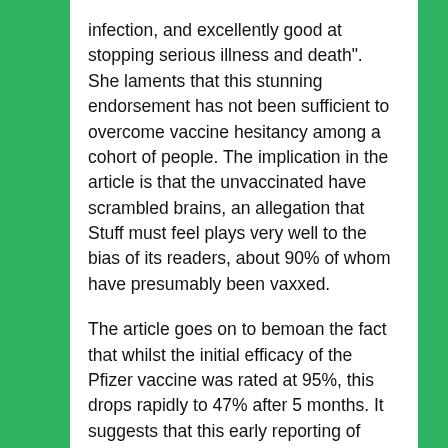infection, and excellently good at stopping serious illness and death". She laments that this stunning endorsement has not been sufficient to overcome vaccine hesitancy among a cohort of people. The implication in the article is that the unvaccinated have scrambled brains, an allegation that Stuff must feel plays very well to the bias of its readers, about 90% of whom have presumably been vaxxed.
The article goes on to bemoan the fact that whilst the initial efficacy of the Pfizer vaccine was rated at 95%, this drops rapidly to 47% after 5 months. It suggests that this early reporting of high efficacy was unintentionally counterproductive. The author believes this change in certainty has confused the unvaccinated and implies that the highly infectious nature of the Delta variant may be the